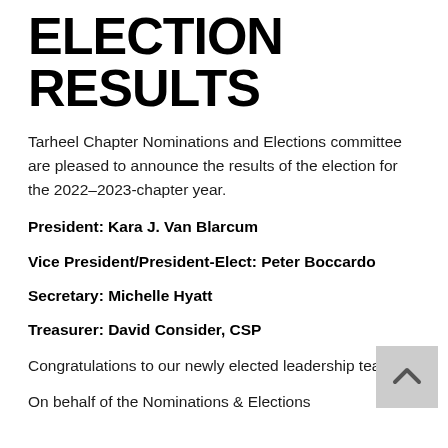ELECTION RESULTS
Tarheel Chapter Nominations and Elections committee are pleased to announce the results of the election for the 2022–2023-chapter year.
President: Kara J. Van Blarcum
Vice President/President-Elect: Peter Boccardo
Secretary: Michelle Hyatt
Treasurer: David Consider, CSP
Congratulations to our newly elected leadership team!
On behalf of the Nominations & Elections